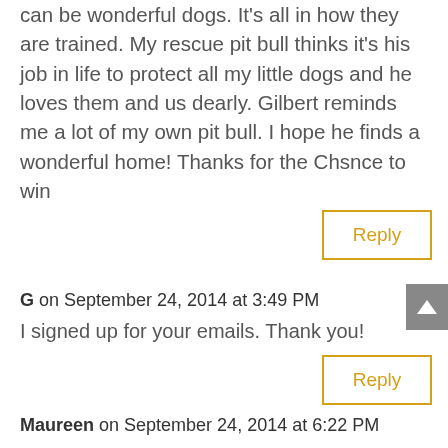can be wonderful dogs. It’s all in how they are trained. My rescue pit bull thinks it’s his job in life to protect all my little dogs and he loves them and us dearly. Gilbert reminds me a lot of my own pit bull. I hope he finds a wonderful home! Thanks for the Chsnce to win
Reply
G on September 24, 2014 at 3:49 PM
I signed up for your emails. Thank you!
Reply
Maureen on September 24, 2014 at 6:22 PM